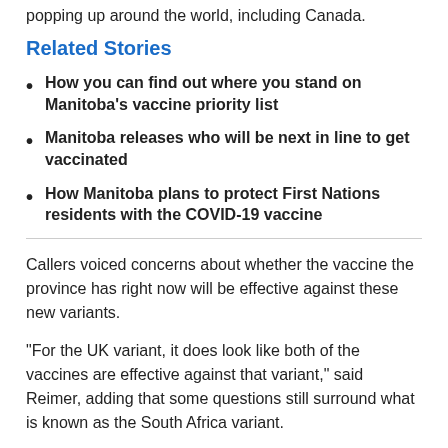popping up around the world, including Canada.
Related Stories
How you can find out where you stand on Manitoba's vaccine priority list
Manitoba releases who will be next in line to get vaccinated
How Manitoba plans to protect First Nations residents with the COVID-19 vaccine
Callers voiced concerns about whether the vaccine the province has right now will be effective against these new variants.
"For the UK variant, it does look like both of the vaccines are effective against that variant," said Reimer, adding that some questions still surround what is known as the South Africa variant.
"Some of the vaccines may not be as effective as for